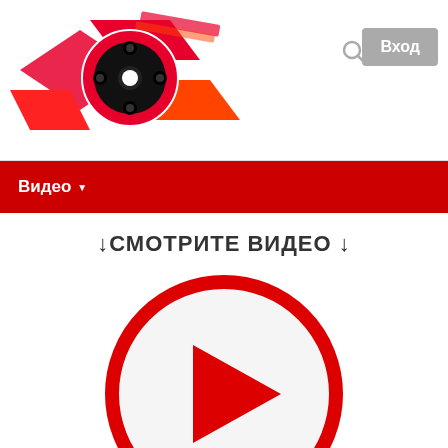[Figure (logo): Film reel logo with red and orange geometric shapes]
[Figure (other): Search icon (magnifying glass)]
Вход
Видео▾
↓СМОТРИТЕ ВИДЕО ↓
[Figure (illustration): Large red circle with white interior and red play button triangle in center]